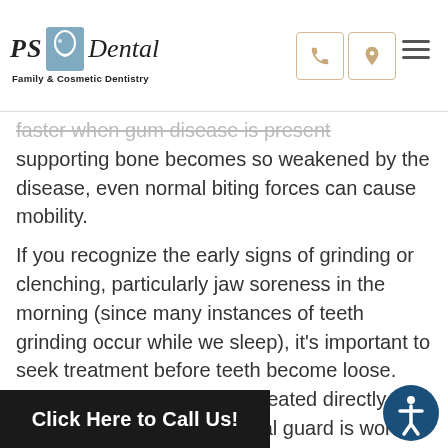PS Dental — Family & Cosmetic Dentistry
faster when gum disease is present supporting bone becomes so weakened by the disease, even normal biting forces can cause mobility.
If you recognize the early signs of grinding or clenching, particularly jaw soreness in the morning (since many instances of teeth grinding occur while we sleep), it's important to seek treatment before teeth become loose. The symptoms are usually treated directly with muscle relaxants, an occlusal guard is worn to soften the force when teeth bite down, or stress management, a major trigger for teeth grinding. The sooner you address the habit, the more ts consequences.
Click Here to Call Us!